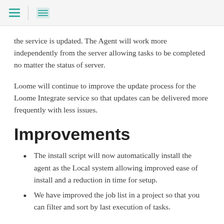[navigation icons: hamburger menu, list view]
the service is updated. The Agent will work more independently from the server allowing tasks to be completed no matter the status of server.
Loome will continue to improve the update process for the Loome Integrate service so that updates can be delivered more frequently with less issues.
Improvements
The install script will now automatically install the agent as the Local system allowing improved ease of install and a reduction in time for setup.
We have improved the job list in a project so that you can filter and sort by last execution of tasks.